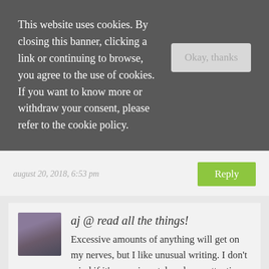This website uses cookies. By closing this banner, clicking a link or continuing to browse, you agree to the use of cookies. If you want to know more or withdraw your consent, please refer to the cookie policy.
Now I'll have to check out Elizabeth Goudge. I haven't read her.
august 20, 2018, 6:53 pm
aj @ read all the things!
Excessive amounts of anything will get on my nerves, but I like unusual writing. I don't mind if it's experimental or draws attention to itself. However, I don't like when the writing slows the story down. With